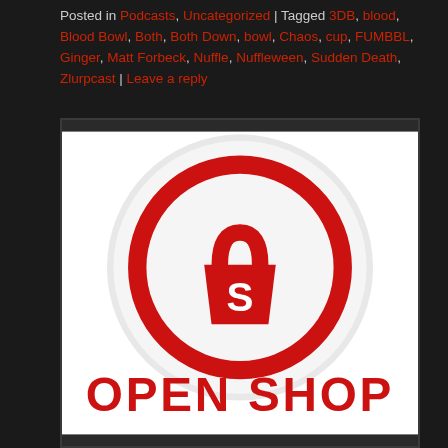Posted in Podcasts, Uncategorized | Tagged 3DB, blood, Blood Bowl, Both, Both Down, bowl, Chaos, cup, FUMBBL, Ginger, Matt Forbeck, Nuffle, Nuffleween, Sudden Death, Zlurpcast | Leave a reply
[Figure (logo): Shopify logo — a white circle with a red ring border containing a red shopping bag icon with a white S letter, on a light grey circular background. Below the circle, red bold text reads OPEN SHOP (partially visible).]